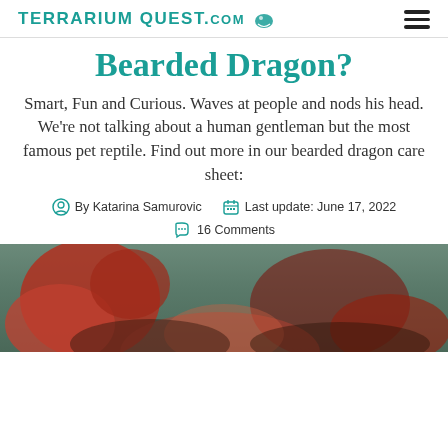TERRARIUM QUEST.com
Bearded Dragon?
Smart, Fun and Curious. Waves at people and nods his head. We're not talking about a human gentleman but the most famous pet reptile. Find out more in our bearded dragon care sheet:
By Katarina Samurovic   Last update: June 17, 2022   16 Comments
[Figure (photo): Close-up photo of a bearded dragon reptile, partially visible at bottom of the page with red/orange coloring and green background.]